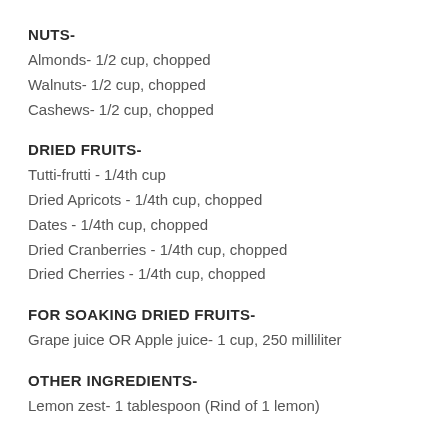NUTS-
Almonds- 1/2 cup, chopped
Walnuts- 1/2 cup, chopped
Cashews- 1/2 cup, chopped
DRIED FRUITS-
Tutti-frutti - 1/4th cup
Dried Apricots - 1/4th cup, chopped
Dates - 1/4th cup, chopped
Dried Cranberries - 1/4th cup, chopped
Dried Cherries - 1/4th cup, chopped
FOR SOAKING DRIED FRUITS-
Grape juice OR Apple juice- 1 cup, 250 milliliter
OTHER INGREDIENTS-
Lemon zest- 1 tablespoon (Rind of 1 lemon)